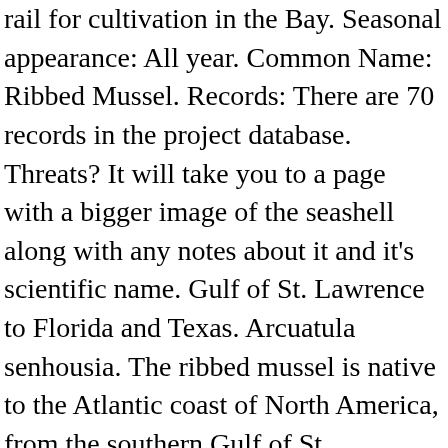rail for cultivation in the Bay. Seasonal appearance: All year. Common Name: Ribbed Mussel. Records: There are 70 records in the project database. Threats? It will take you to a page with a bigger image of the seashell along with any notes about it and it's scientific name. Gulf of St. Lawrence to Florida and Texas. Arcuatula senhousia. The ribbed mussel is native to the Atlantic coast of North America, from the southern Gulf of St. Lawrence, Canada to northeastern Florida and along the Gulf of Mexico from Florida to Yucatan. Common names. Of all the marine animals that the beach walker might observe, the mussel and its colleague in the intertidal environment, the barnacle, are by far the most common in those coastal habitats that have pilings, rock outcroppings, and other hard surfaces where these animals can attach. About Sanctuary Home History